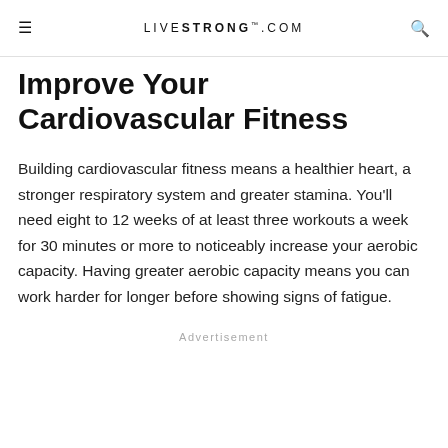LIVESTRONG.COM
Improve Your Cardiovascular Fitness
Building cardiovascular fitness means a healthier heart, a stronger respiratory system and greater stamina. You'll need eight to 12 weeks of at least three workouts a week for 30 minutes or more to noticeably increase your aerobic capacity. Having greater aerobic capacity means you can work harder for longer before showing signs of fatigue.
Advertisement